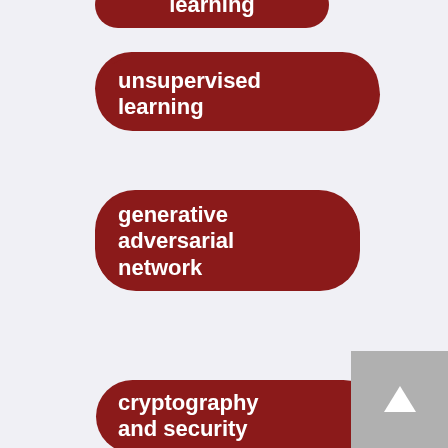learning
unsupervised learning
generative adversarial network
cryptography and security
machine learning
node ranking
PageRank
Three-dimensional